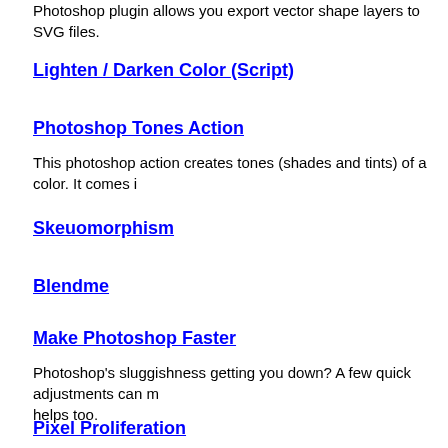Photoshop plugin allows you export vector shape layers to SVG files.
Lighten / Darken Color (Script)
Photoshop Tones Action
This photoshop action creates tones (shades and tints) of a color. It comes i
Skeuomorphism
Blendme
Make Photoshop Faster
Photoshop's sluggishness getting you down? A few quick adjustments can m helps too.
Pixel Proliferation
2xScaler